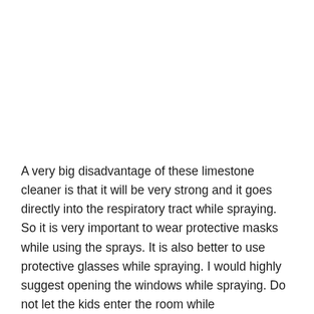A very big disadvantage of these limestone cleaner is that it will be very strong and it goes directly into the respiratory tract while spraying. So it is very important to wear protective masks while using the sprays. It is also better to use protective glasses while spraying. I would highly suggest opening the windows while spraying. Do not let the kids enter the room while